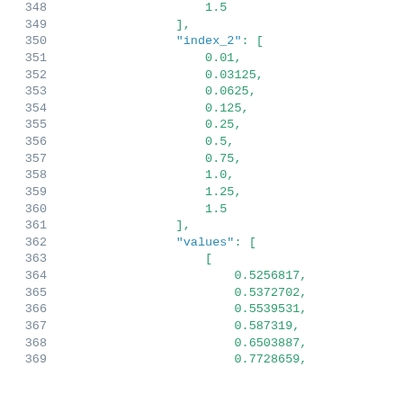Code listing lines 348-369 showing JSON data structure with index_2 array and values array
348:     1.5
349:     ],
350:     "index_2": [
351:       0.01,
352:       0.03125,
353:       0.0625,
354:       0.125,
355:       0.25,
356:       0.5,
357:       0.75,
358:       1.0,
359:       1.25,
360:       1.5
361:     ],
362:     "values": [
363:       [
364:         0.5256817,
365:         0.5372702,
366:         0.5539531,
367:         0.587319,
368:         0.6503887,
369:         0.7728659,